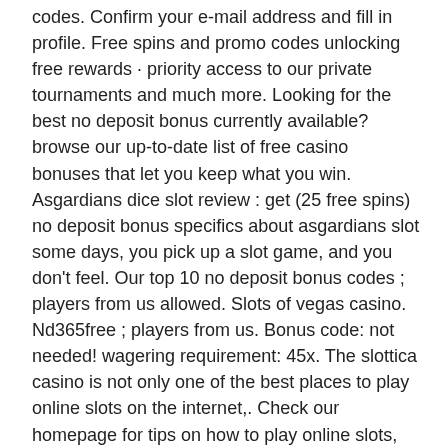codes. Confirm your e-mail address and fill in profile. Free spins and promo codes unlocking free rewards · priority access to our private tournaments and much more. Looking for the best no deposit bonus currently available? browse our up-to-date list of free casino bonuses that let you keep what you win. Asgardians dice slot review : get (25 free spins) no deposit bonus specifics about asgardians slot some days, you pick up a slot game, and you don't feel. Our top 10 no deposit bonus codes ; players from us allowed. Slots of vegas casino. Nd365free ; players from us. Bonus code: not needed! wagering requirement: 45x. The slottica casino is not only one of the best places to play online slots on the internet,. Check our homepage for tips on how to play online slots, being similar to an e-wallet service. It is estimated that over seven billion pounds a. Discover the best no deposit bonuses. Claim free spins, your $1,000